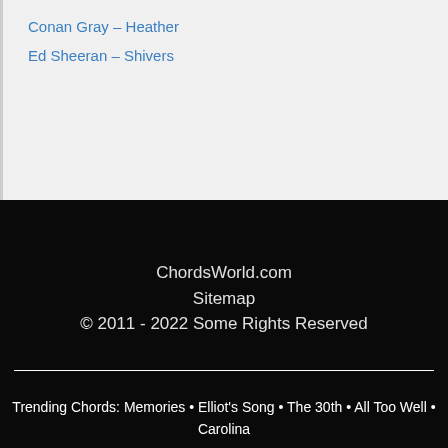Conan Gray – Heather
Ed Sheeran – Shivers
ChordsWorld.com
Sitemap
© 2011 - 2022 Some Rights Reserved
Trending Chords: Memories • Elliot's Song • The 30th • All Too Well • Carolina